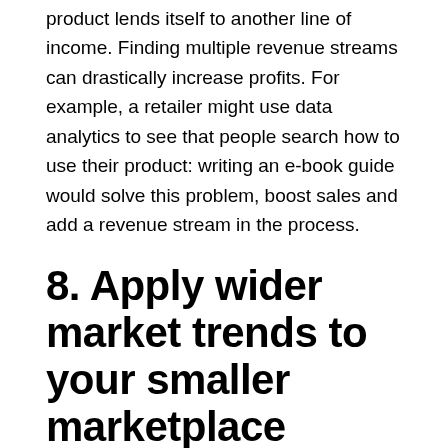product lends itself to another line of income. Finding multiple revenue streams can drastically increase profits. For example, a retailer might use data analytics to see that people search how to use their product: writing an e-book guide would solve this problem, boost sales and add a revenue stream in the process.
8. Apply wider market trends to your smaller marketplace
Using tools like Quantcast, which collects data about consumers from their online habits and converts it into helpful tips for companies, you can establish exactly who wants your product, where they are and how they shop.